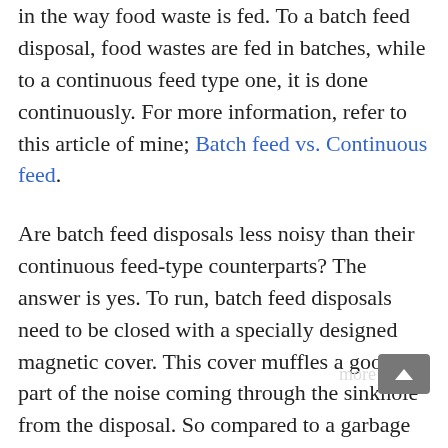in the way food waste is fed. To a batch feed disposal, food wastes are fed in batches, while to a continuous feed type one, it is done continuously. For more information, refer to this article of mine; Batch feed vs. Continuous feed.
Are batch feed disposals less noisy than their continuous feed-type counterparts? The answer is yes. To run, batch feed disposals need to be closed with a specially designed magnetic cover. This cover muffles a good part of the noise coming through the sinkhole from the disposal. So compared to a garbage disposal that doesn't use this cover, batch feed models are quieter. The extent of this quietness depends on the power rating of their motors. A more powerful motor will make more noise and vice versa.